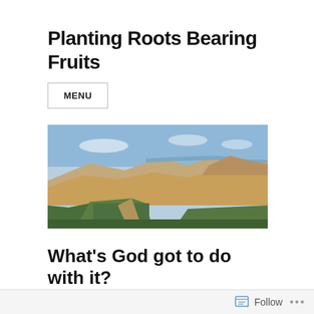Planting Roots Bearing Fruits
MENU
[Figure (photo): Panoramic landscape photo of arid hillsides with green trees/crops in the foreground and mountains with sea/lake in the background under a partly cloudy blue sky]
What’s God got to do with it?
Follow ...